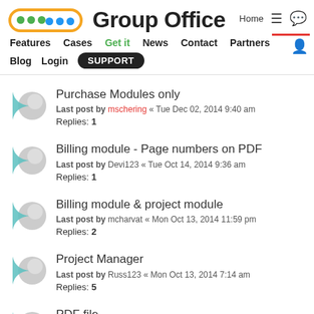Group Office — Features Cases Get it News Contact Partners Blog Login SUPPORT Home
Purchase Modules only
Last post by mschering « Tue Dec 02, 2014 9:40 am
Replies: 1
Billing module - Page numbers on PDF
Last post by Devi123 « Tue Oct 14, 2014 9:36 am
Replies: 1
Billing module & project module
Last post by mcharvat « Mon Oct 13, 2014 11:59 pm
Replies: 2
Project Manager
Last post by Russ123 « Mon Oct 13, 2014 7:14 am
Replies: 5
PDF file
Last post by danny10 « Mon Sep 15, 2014 9:24 am
Replies: 1
buy licenses in apps tab